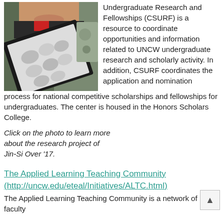[Figure (photo): A person holding a tray with multiple small specimens (possibly kidney or organ samples on an X-ray/clear board), taken in a lab setting.]
Undergraduate Research and Fellowships (CSURF) is a resource to coordinate opportunities and information related to UNCW undergraduate research and scholarly activity. In addition, CSURF coordinates the application and nomination process for national competitive scholarships and fellowships for undergraduates. The center is housed in the Honors Scholars College.
Click on the photo to learn more about the research project of Jin-Si Over '17.
The Applied Learning Teaching Community (http://uncw.edu/eteal/Initiatives/ALTC.html)
The Applied Learning Teaching Community is a network of faculty